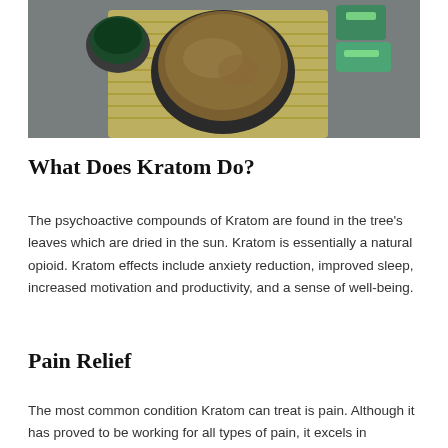[Figure (photo): Overhead view of kratom powder in a dark bowl and a small cup of green liquid on a bamboo mat against a gray background, with green wrapped items in the corner.]
What Does Kratom Do?
The psychoactive compounds of Kratom are found in the tree's leaves which are dried in the sun. Kratom is essentially a natural opioid. Kratom effects include anxiety reduction, improved sleep, increased motivation and productivity, and a sense of well-being.
Pain Relief
The most common condition Kratom can treat is pain. Although it has proved to be working for all types of pain, it excels in